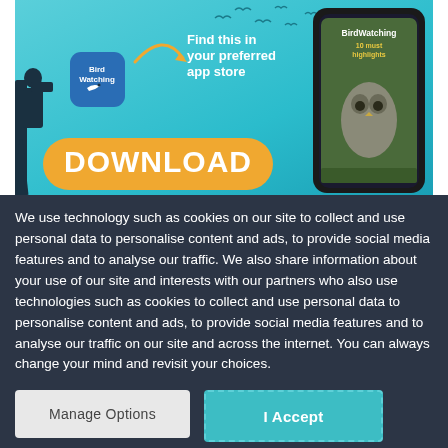[Figure (screenshot): BirdWatching magazine app advertisement with teal/blue background, silhouette of a person with binoculars on a tripod, BirdWatching app icon, arrow, text 'Find this in your preferred app store', a large orange DOWNLOAD button, and a smartphone showing the BirdWatching magazine cover with an owl.]
We use technology such as cookies on our site to collect and use personal data to personalise content and ads, to provide social media features and to analyse our traffic. We also share information about your use of our site and interests with our partners who also use technologies such as cookies to collect and use personal data to personalise content and ads, to provide social media features and to analyse our traffic on our site and across the internet. You can always change your mind and revisit your choices.
Manage Options
I Accept